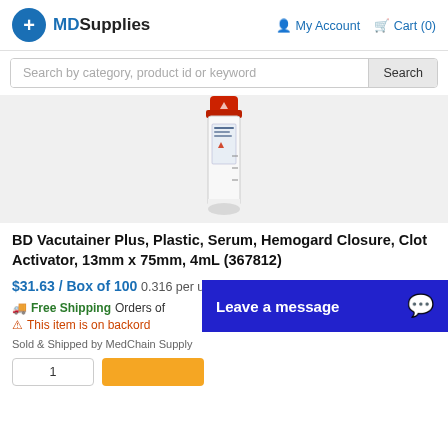MDSupplies — My Account — Cart (0)
Search by category, product id or keyword
[Figure (photo): BD Vacutainer blood collection tube with red Hemogard closure cap, white tube body with label, standing upright on white background]
BD Vacutainer Plus, Plastic, Serum, Hemogard Closure, Clot Activator, 13mm x 75mm, 4mL (367812)
$31.63 / Box of 100 0.316 per unit
Free Shipping Orders of...
This item is on backord...
Sold & Shipped by MedChain Supply